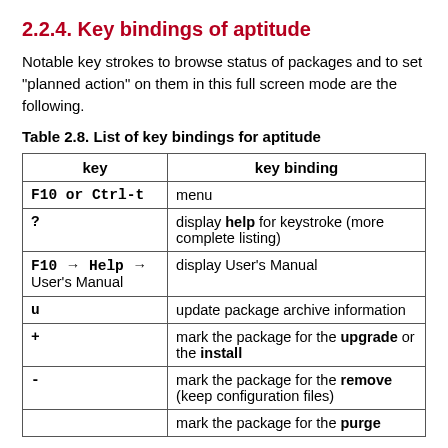2.2.4. Key bindings of aptitude
Notable key strokes to browse status of packages and to set "planned action" on them in this full screen mode are the following.
Table 2.8. List of key bindings for aptitude
| key | key binding |
| --- | --- |
| F10 or Ctrl-t | menu |
| ? | display help for keystroke (more complete listing) |
| F10 → Help → User's Manual | display User's Manual |
| u | update package archive information |
| + | mark the package for the upgrade or the install |
| - | mark the package for the remove (keep configuration files) |
|  | mark the package for the purge |